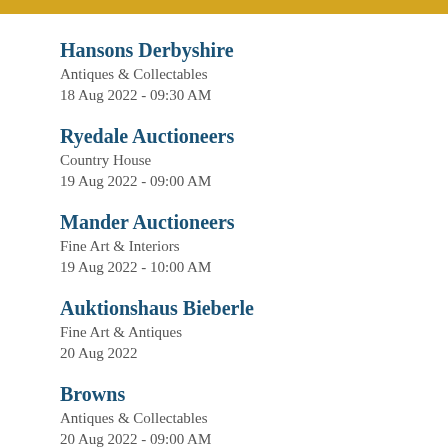Hansons Derbyshire
Antiques & Collectables
18 Aug 2022 - 09:30 AM
Ryedale Auctioneers
Country House
19 Aug 2022 - 09:00 AM
Mander Auctioneers
Fine Art & Interiors
19 Aug 2022 - 10:00 AM
Auktionshaus Bieberle
Fine Art & Antiques
20 Aug 2022
Browns
Antiques & Collectables
20 Aug 2022 - 09:00 AM
Arthur Johnson & Sons